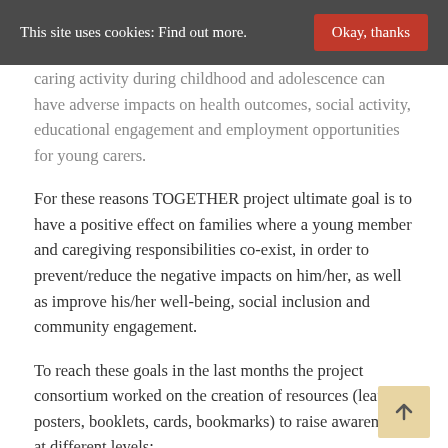This site uses cookies: Find out more. Okay, thanks
caring activity during childhood and adolescence can have adverse impacts on health outcomes, social activity, educational engagement and employment opportunities for young carers.
For these reasons TOGETHER project ultimate goal is to have a positive effect on families where a young member and caregiving responsibilities co-exist, in order to prevent/reduce the negative impacts on him/her, as well as improve his/her well-being, social inclusion and community engagement.
To reach these goals in the last months the project consortium worked on the creation of resources (leaflets, posters, booklets, cards, bookmarks) to raise awareness at different levels:
To young carers about the importance of